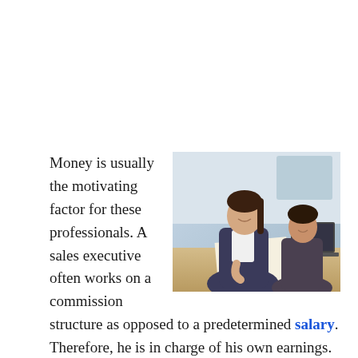[Figure (photo): Two professional women in business attire working together at a desk, one writing on paper and one looking on, with a laptop visible in the background.]
Money is usually the motivating factor for these professionals. A sales executive often works on a commission structure as opposed to a predetermined salary. Therefore, he is in charge of his own earnings. Some business owners offer substantial bonuses and rewards in addition to regular